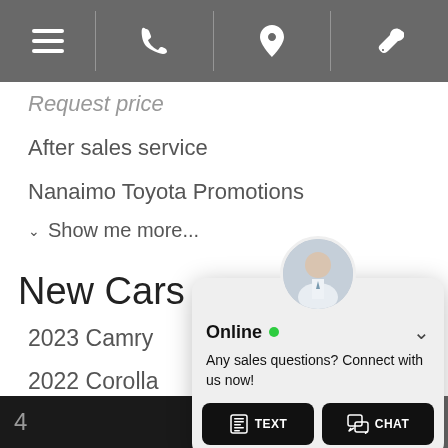≡  📞  📍  🔧
Request price
After sales service
Nanaimo Toyota Promotions
Show me more...
New Cars
2023 Camry
2022 Corolla
2022 Corolla Hatchback
Show me more...
Hybrids a...
2023 Cam...
[Figure (screenshot): Chat widget overlay showing a dealer representative avatar, 'Online' status with green dot, message 'Any sales questions? Connect with us now!', and two buttons: TEXT and CHAT]
4  ...  TER